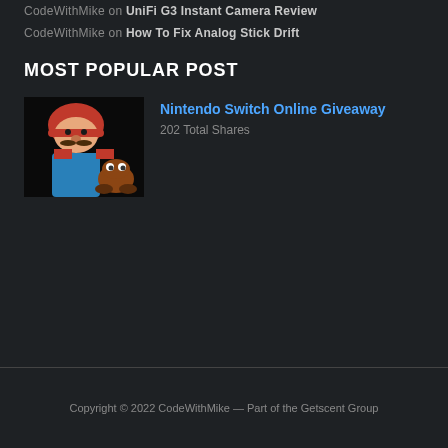CodeWithMike on UniFi G3 Instant Camera Review
CodeWithMike on How To Fix Analog Stick Drift
MOST POPULAR POST
[Figure (photo): Nintendo character Mario with a Goomba enemy, dark background gaming photo]
Nintendo Switch Online Giveaway
202 Total Shares
Copyright © 2022 CodeWithMike — Part of the Getscent Group